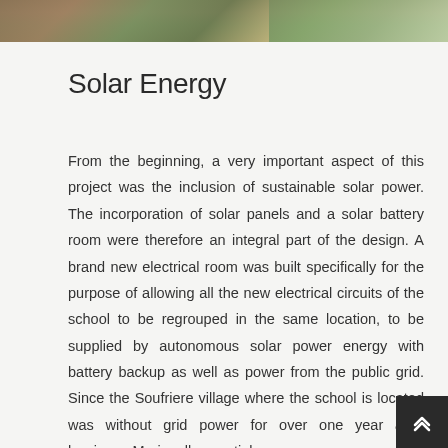[Figure (photo): Aerial or top-down photograph of a building/construction site with greenery visible, partially cropped at the top of the page]
Solar Energy
From the beginning, a very important aspect of this project was the inclusion of sustainable solar power. The incorporation of solar panels and a solar battery room were therefore an integral part of the design. A brand new electrical room was built specifically for the purpose of allowing all the new electrical circuits of the school to be regrouped in the same location, to be supplied by autonomous solar power energy with battery backup as well as power from the public grid. Since the Soufriere village where the school is located was without grid power for over one year after hurricane Maria, all essential